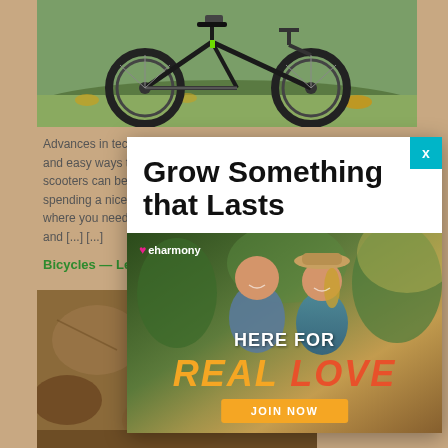[Figure (photo): Mountain bike photographed on grass with autumn leaves, viewed from the side showing both wheels]
Advances in techn... and easy ways to ... scooters can be a ... spending a nice ti... where you need t... and [...] [...]
Bicycles — Let t
[Figure (photo): Close-up of rocky/dirt ground texture]
[Figure (illustration): Advertisement overlay modal with close button (X) in teal. Title: 'Grow Something that Lasts'. eHarmony ad showing couple smiling outdoors with text 'HERE FOR REAL LOVE' and 'JOIN NOW' button.]